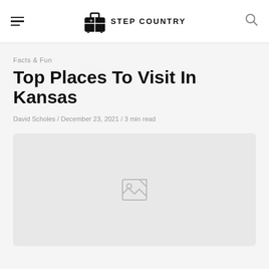STEP COUNTRY
Facts & Fun
Top Places To Visit In Kansas
David Scholes / December 23, 2021 / 3 min read
[Figure (photo): Image placeholder with broken image icon, light gray background]